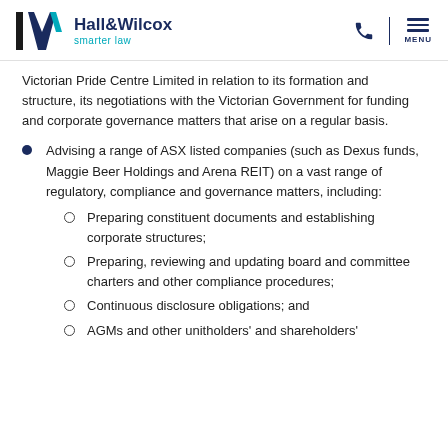[Figure (logo): Hall&Wilcox smarter law logo with stylized H and W letterform in dark navy and teal, phone icon and MENU hamburger on the right]
Victorian Pride Centre Limited in relation to its formation and structure, its negotiations with the Victorian Government for funding and corporate governance matters that arise on a regular basis.
Advising a range of ASX listed companies (such as Dexus funds, Maggie Beer Holdings and Arena REIT) on a vast range of regulatory, compliance and governance matters, including:
Preparing constituent documents and establishing corporate structures;
Preparing, reviewing and updating board and committee charters and other compliance procedures;
Continuous disclosure obligations; and
AGMs and other unitholders' and shareholders'